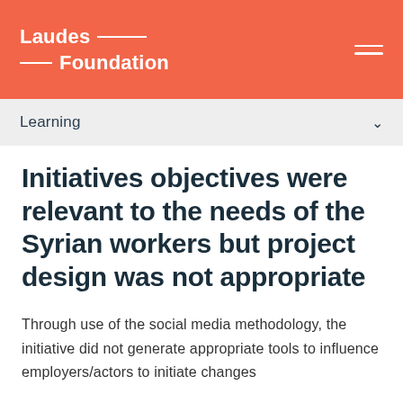Laudes Foundation
Learning
Initiatives objectives were relevant to the needs of the Syrian workers but project design was not appropriate
Through use of the social media methodology, the initiative did not generate appropriate tools to influence employers/actors to initiate changes